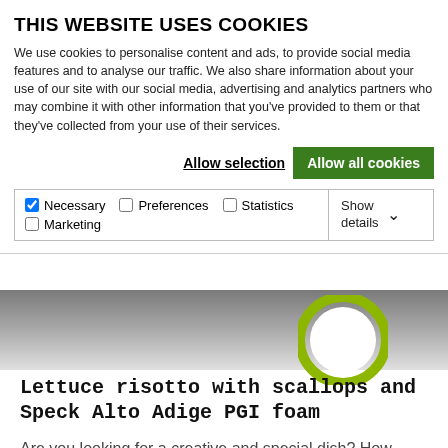THIS WEBSITE USES COOKIES
We use cookies to personalise content and ads, to provide social media features and to analyse our traffic. We also share information about your use of our site with our social media, advertising and analytics partners who may combine it with other information that you've provided to them or that they've collected from your use of their services.
Allow selection  Allow all cookies
| ✓ Necessary | ☐ Preferences | ☐ Statistics | Show details ∨ |
| ☐ Marketing |  |  |  |
[Figure (photo): Partial view of a food dish with a green circle/ring garnish element visible, shown behind the cookie consent overlay]
Lettuce risotto with scallops and Speck Alto Adige PGI foam
Are you looking for a creative and special dish? How about trying our recipe with roasted scallops in bacon foam?